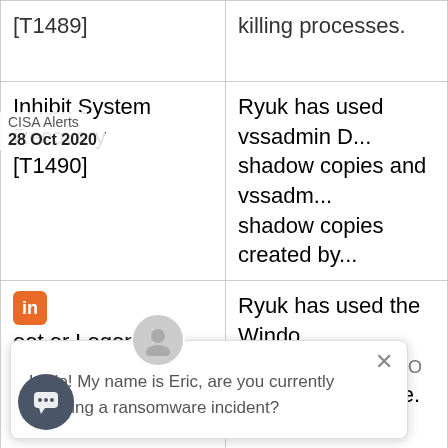| Technique | Description |
| --- | --- |
| [T1489] | killing processes. |
| Inhibit System Recovery [T1490] | Ryuk has used vssadmin delete shadow copies and vssadmin delete shadow copies created by... |
| Boot or Logon ... Keys / Startup ... er [T1047.001] | Ryuk has used the Windows registry CURRENT_USERSO... ablish persistence. |